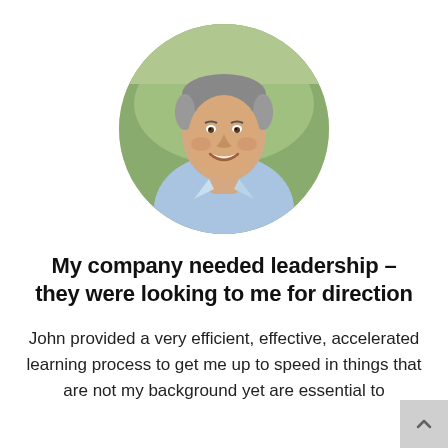[Figure (photo): Circular cropped headshot of a middle-aged man with grey hair, smiling, wearing a light blue collared shirt, with a green outdoor background.]
My company needed leadership - they were looking to me for direction
John provided a very efficient, effective, accelerated learning process to get me up to speed in things that are not my background yet are essential to